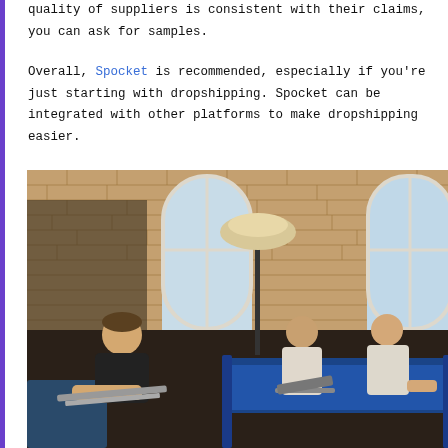quality of suppliers is consistent with their claims, you can ask for samples.
Overall, Spocket is recommended, especially if you're just starting with dropshipping. Spocket can be integrated with other platforms to make dropshipping easier.
[Figure (photo): Three men working in a loft-style office space with exposed brick walls and large windows. One man sits on a chair on the left with a laptop on his lap, while two other men sit on a blue couch on the right, one holding a laptop. A floor lamp stands in the center background.]